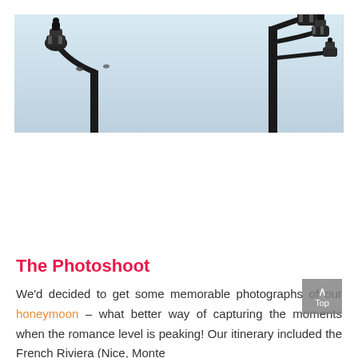[Figure (photo): Wide banner photograph showing ornate street lamp posts against a light blue sky. A decorative lamp is visible on the left side and two more on the right side, all dark/silhouetted against the pale blue sky background.]
The Photoshoot
We'd decided to get some memorable photographs of our honeymoon – what better way of capturing the moments when the romance level is peaking! Our itinerary included the French Riviera (Nice, Monte